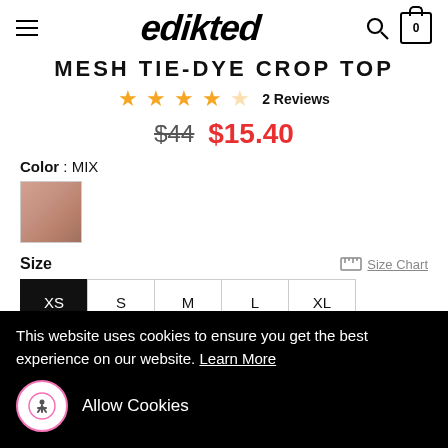edikted
MESH TIE-DYE CROP TOP
★★★★☆ 2 Reviews
$44  $15.40
Color : MIX
[Figure (photo): Color swatch showing a pinkish-brown/nude color for MIX option]
Size
Size Chart
XS S M L XL
This website uses cookies to ensure you get the best experience on our website. Learn More
Allow Cookies